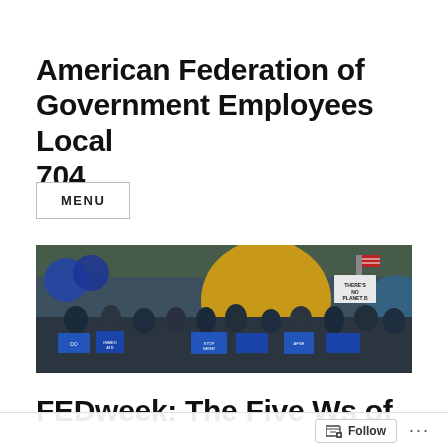American Federation of Government Employees Local 704
MENU
[Figure (photo): Outdoor rally or protest scene with a crowd of people holding blue signs and placards. A large inflatable yellow character is visible in the background along with balloons and flags. Signs reference themes of protest and solidarity.]
FEDweek: The Five Ws of Sequestration: A G...
Follow ...